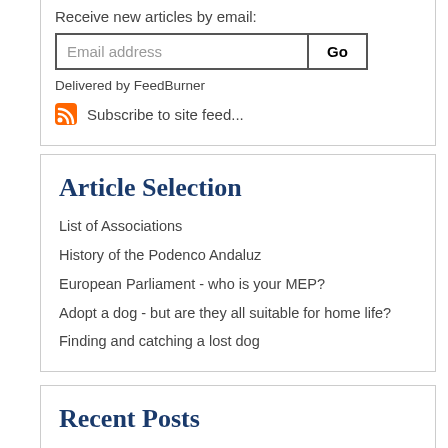Receive new articles by email:
Email address
Delivered by FeedBurner
Subscribe to site feed...
Article Selection
List of Associations
History of the Podenco Andaluz
European Parliament - who is your MEP?
Adopt a dog - but are they all suitable for home life?
Finding and catching a lost dog
Recent Posts
Pint size galgo puppies Romulo and Remo for adoption